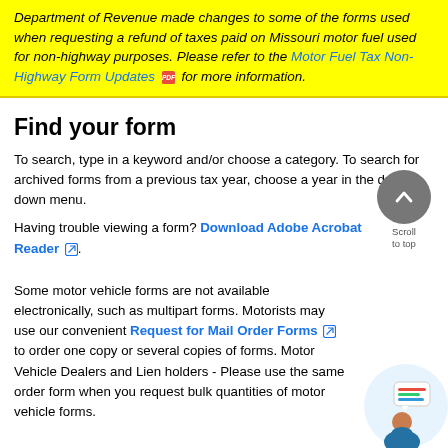Department of Revenue made changes to some of the forms used when requesting a refund of taxes paid on Missouri motor fuel used for non-highway purposes. Please refer to the Motor Fuel Tax Non-Highway Form Updates 📄 for more information.
Find your form
To search, type in a keyword and/or choose a category. To search for archived forms from a previous tax year, choose a year in the drop down menu.
Having trouble viewing a form? Download Adobe Acrobat Reader [external link].
Some motor vehicle forms are not available electronically, such as multipart forms. Motorists may use our convenient Request for Mail Order Forms [external link] to order one copy or several copies of forms. Motor Vehicle Dealers and Lien holders - Please use the same order form when you request bulk quantities of motor vehicle forms.